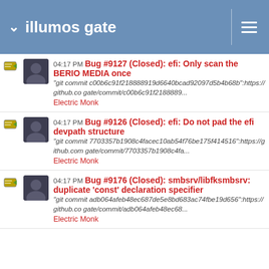illumos gate
04:17 PM Bug #9127 (Closed): efi: Only scan the BERIO MEDIA once
"git commit c00b6c91f218888919d6640bcad92097d5b4b68b":https://github.co gate/commit/c00b6c91f2188889...
Electric Monk
04:17 PM Bug #9126 (Closed): efi: Do not pad the efi devpath structure
"git commit 7703357b1908c4facec10ab54f76be175f414516":https://github.com gate/commit/7703357b1908c4fa...
Electric Monk
04:17 PM Bug #9176 (Closed): smbsrv/libfksmbsrv: duplicate 'const' declaration specifier
"git commit adb064afeb48ec687de5e8bd683ac74fbe19d656":https://github.co gate/commit/adb064afeb48ec68...
Electric Monk